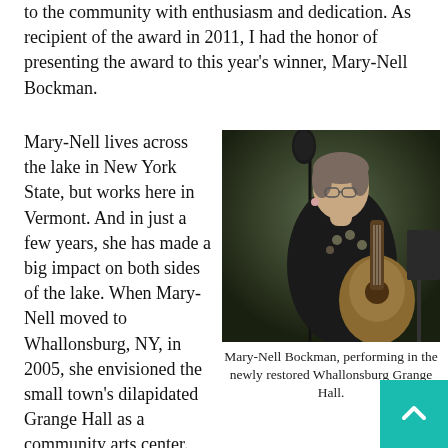to the community with enthusiasm and dedication. As recipient of the award in 2011, I had the honor of presenting the award to this year's winner, Mary-Nell Bockman.
Mary-Nell lives across the lake in New York State, but works here in Vermont. And in just a few years, she has made a big impact on both sides of the lake. When Mary-Nell moved to Whallonsburg, NY, in 2005, she envisioned the small town's dilapidated Grange Hall as a community arts center. Today, the
[Figure (photo): A woman wearing glasses and a dark embroidered top playing an acoustic guitar at a microphone stand, performing on stage.]
Mary-Nell Bockman, performing in the newly restored Whallonsburg Grange Hall.